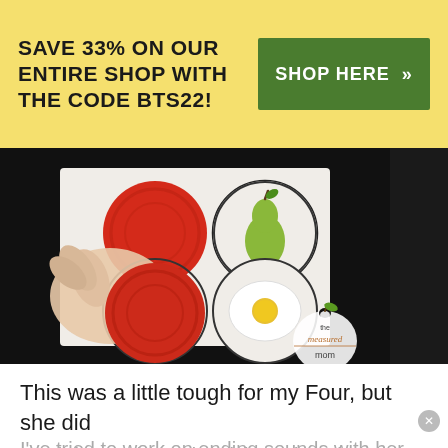SAVE 33% ON OUR ENTIRE SHOP WITH THE CODE BTS22!
SHOP HERE »
[Figure (photo): A child's hand placing a red circular disc over printed circles on a white card. The card shows four circles arranged in a 2x2 grid. Top-left circle has a red disc covering it, top-right shows a drawn pear, bottom-left circle is being covered by a red disc held by the child's hand, bottom-right shows a fried egg illustration. Background is dark/black. Bottom-right corner has 'the measured mom' logo on a white apple shape.]
This was a little tough for my Four, but she did much better than I'd anticipated. In the past, when I've tried to work on ending sounds with her, she's